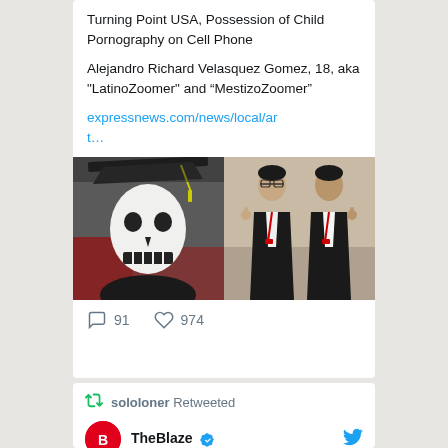Turning Point USA, Possession of Child Pornography on Cell Phone
Alejandro Richard Velasquez Gomez, 18, aka "LatinoZoomer" and “MestizoZoomer”
expressnews.com/news/local/art…
[Figure (photo): Two side-by-side photos: left shows a person in graduation cap wearing a skull face mask; right shows two young men in suits giving thumbs up]
91   974
sololoner Retweeted
TheBlaze